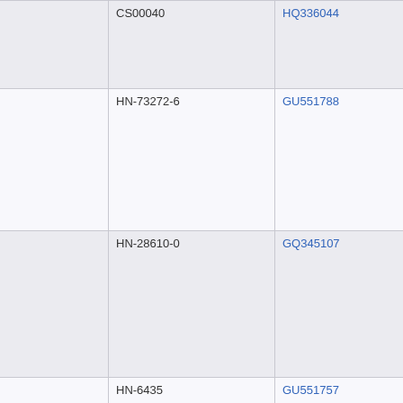| Allele | Cell/Donor | Accession | Sequence Info |
| --- | --- | --- | --- |
| A*02:87 | CS00040 | HQ336044 | H...
C...
U... |
| A*03:88 | HN-73272-6 | GU551788 | H...
C...
U... |
| A*11:37 | HN-28610-0 | GQ345107 | H...
C...
U... |
| A*11:48 | HN-6435 | GU551757 | H...
C...
U... |
| A*23:21 | HN-3445296 | GQ254314 | H...
C...
U... |
| A*24:110 | HN-28167-6 | GQ149280 | H... |